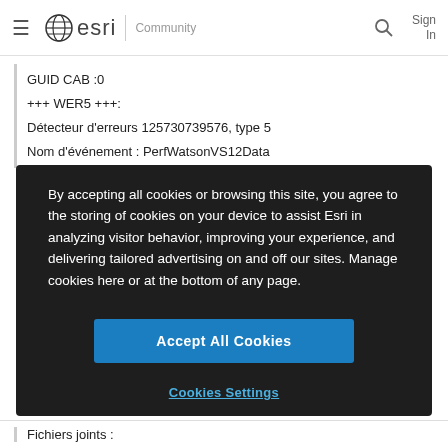esri Community
GUID CAB :0
+++ WER5 +++:
Détecteur d'erreurs 125730739576, type 5
Nom d'événement : PerfWatsonVS12Data
By accepting all cookies or browsing this site, you agree to the storing of cookies on your device to assist Esri in analyzing visitor behavior, improving your experience, and delivering tailored advertising on and off our sites. Manage cookies here or at the bottom of any page.
Accept All Cookies
Cookies Settings
Fichiers joints :